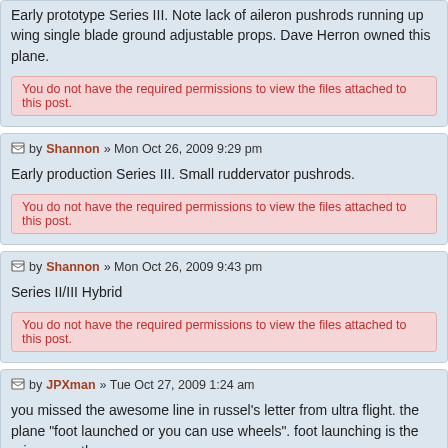Early prototype Series III. Note lack of aileron pushrods running up wing single blade ground adjustable props. Dave Herron owned this plane.
You do not have the required permissions to view the files attached to this post.
by Shannon » Mon Oct 26, 2009 9:29 pm
Early production Series III. Small ruddervator pushrods.
You do not have the required permissions to view the files attached to this post.
by Shannon » Mon Oct 26, 2009 9:43 pm
Series II/III Hybrid
You do not have the required permissions to view the files attached to this post.
by JPXman » Tue Oct 27, 2009 1:24 am
you missed the awesome line in russel's letter from ultra flight. the plane "foot launched or you can use wheels". foot launching is the primary meth
it was a premier of a foot launching with the proving or the st t